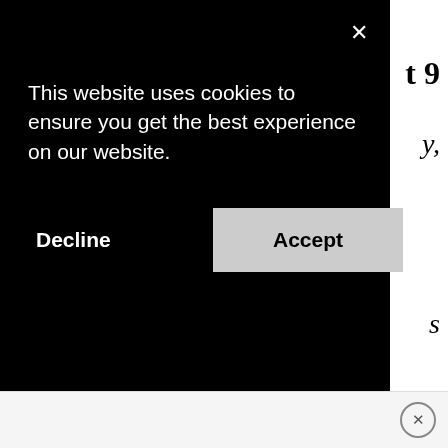[Figure (screenshot): Cookie consent banner overlay on a dark black background. Shows message 'This website uses cookies to ensure you get the best experience on our website.' with 'Decline' and 'Accept' buttons. A close X button is in the top right. Partially visible background text shows 't 9', 'y,', and 's' on the right side.]
wallet to review and donate to my local charity. As always all opinions in this post are all mine.
[Figure (screenshot): Bottom advertisement bar with a circular X close button on the right side.]